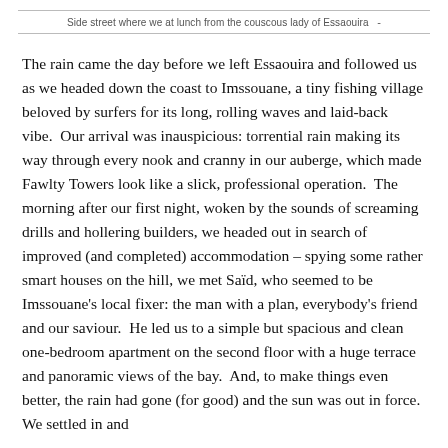Side street where we at lunch from the couscous lady of Essaouira
The rain came the day before we left Essaouira and followed us as we headed down the coast to Imssouane, a tiny fishing village beloved by surfers for its long, rolling waves and laid-back vibe.  Our arrival was inauspicious: torrential rain making its way through every nook and cranny in our auberge, which made Fawlty Towers look like a slick, professional operation.  The morning after our first night, woken by the sounds of screaming drills and hollering builders, we headed out in search of improved (and completed) accommodation – spying some rather smart houses on the hill, we met Saïd, who seemed to be Imssouane's local fixer: the man with a plan, everybody's friend and our saviour.  He led us to a simple but spacious and clean one-bedroom apartment on the second floor with a huge terrace and panoramic views of the bay.  And, to make things even better, the rain had gone (for good) and the sun was out in force.  We settled in and